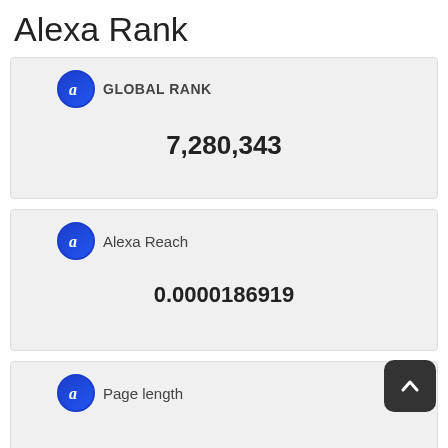Alexa Rank
GLOBAL RANK
7,280,343
Alexa Reach
0.0000186919
Page length